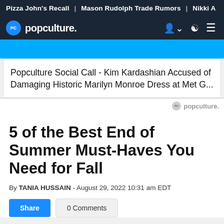Pizza John's Recall | Mason Rudolph Trade Rumors | Nikki A
popculture.
[Figure (screenshot): Blue video/media banner area]
Popculture Social Call - Kim Kardashian Accused of Damaging Historic Marilyn Monroe Dress at Met G...
pc popculture.
5 of the Best End of Summer Must-Haves You Need for Fall
By TANIA HUSSAIN - August 29, 2022 10:31 am EDT